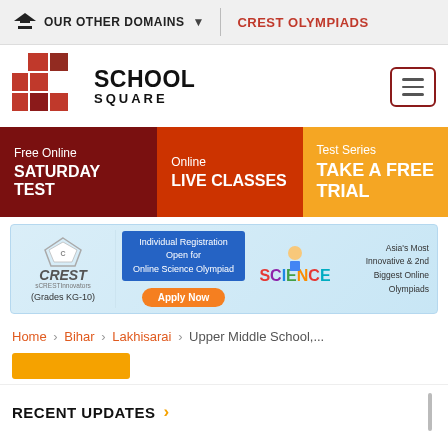OUR OTHER DOMAINS | CREST OLYMPIADS
[Figure (logo): School Square logo with red cross grid and text SCHOOL SQUARE]
[Figure (infographic): Navigation bar with three sections: Free Online SATURDAY TEST (dark red), Online LIVE CLASSES (orange-red), Test Series TAKE A FREE TRIAL (orange)]
[Figure (infographic): CREST banner ad: Individual Registration Open for Online Science Olympiad, Apply Now, Grades KG-10, Asia's Most Innovative & 2nd Biggest Online Olympiads, SCIENCE]
Home > Bihar > Lakhisarai > Upper Middle School,...
RECENT UPDATES